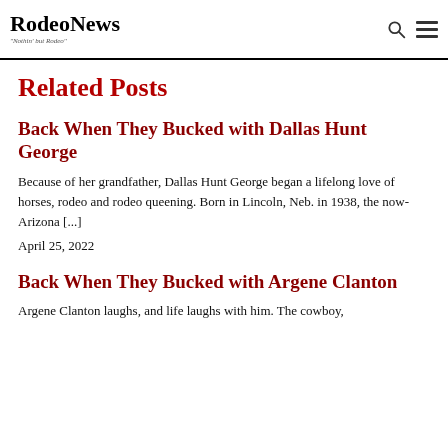Rodeo News — "Nothin' but Rodeo"
Related Posts
Back When They Bucked with Dallas Hunt George
Because of her grandfather, Dallas Hunt George began a lifelong love of horses, rodeo and rodeo queening. Born in Lincoln, Neb. in 1938, the now-Arizona [...]
April 25, 2022
Back When They Bucked with Argene Clanton
Argene Clanton laughs, and life laughs with him. The cowboy,